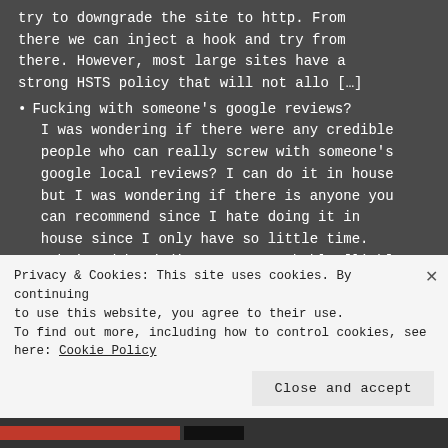try to downgrade the site to http. From there we can inject a hook and try from there. However, most large sites have a strong HSTS policy that will not allo […]
Fucking with someone's google reviews? I was wondering if there were any credible people who can really screw with someone's google local reviews? I can do it in house but I was wondering if there is anyone you can recommend since I hate doing it in house since I only have so little time. submitted by /u/iamamonsterprobably [link]
Privacy & Cookies: This site uses cookies. By continuing to use this website, you agree to their use. To find out more, including how to control cookies, see here: Cookie Policy